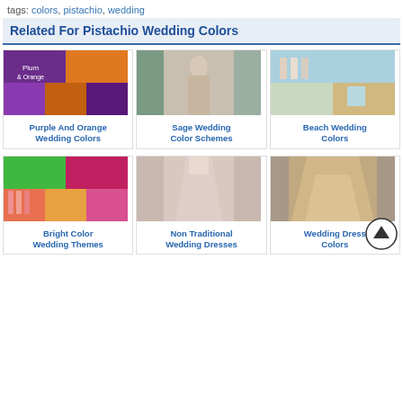tags: colors, pistachio, wedding
Related For Pistachio Wedding Colors
[Figure (photo): Collage of purple and orange wedding photos]
Purple And Orange Wedding Colors
[Figure (photo): Sage wedding color scheme bridesmaids photo]
Sage Wedding Color Schemes
[Figure (photo): Beach wedding colors collage]
Beach Wedding Colors
[Figure (photo): Bright color wedding themes collage with coral bridesmaids]
Bright Color Wedding Themes
[Figure (photo): Non traditional wedding dress in blush/pink]
Non Traditional Wedding Dresses
[Figure (photo): Wedding dress in champagne/gold color]
Wedding Dress Colors